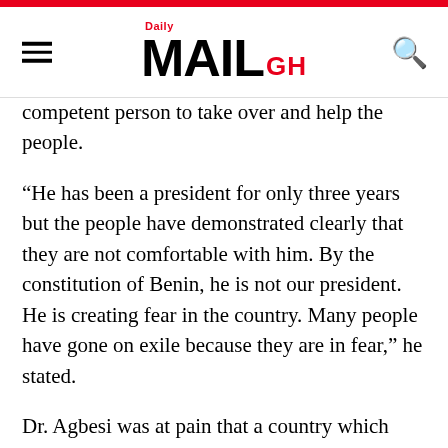Daily MAIL GH
competent person to take over and help the people.
“He has been a president for only three years but the people have demonstrated clearly that they are not comfortable with him. By the constitution of Benin, he is not our president. He is creating fear in the country. Many people have gone on exile because they are in fear,” he stated.
Dr. Agbesi was at pain that a country which was once seen as a leading democracy in Africa could be reduced to an almost one party state, where opposition parties do not have a representation even in parliament.
He said there are evidence that President Patrice Tolon has become very unpopular in the country, for which reason he is making moves to change the constitution through strange